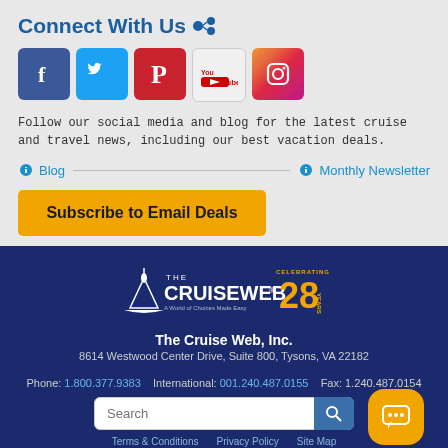Connect With Us
[Figure (infographic): Social media icons: Facebook, Twitter, Pinterest, YouTube, Instagram]
Follow our social media and blog for the latest cruise and travel news, including our best vacation deals.
Blog   Monthly Newsletter
[Figure (infographic): Subscribe to Email Deals button (orange)]
[Figure (logo): The Cruise Web logo with 'Celebrating 28 Years' badge]
The Cruise Web, Inc.
8614 Westwood Center Drive, Suite 800, Tysons, VA 22182
Phone: 1.800.377.9383   International: 001.240.487.0155   Fax: 1.240.487.0154
Search
Terms & Conditions   Privacy Policy   Site Map
Copyright © 1994 – 2022 The Cruise Web, Inc.